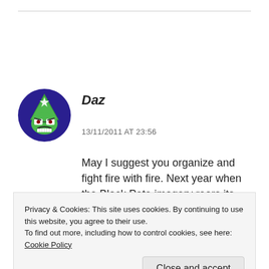[Figure (illustration): Circular avatar with dark blue background featuring a cartoon angry face character with a green triangular hat/body and glasses]
Daz
13/11/2011 AT 23:56
May I suggest you organize and fight fire with fire. Next year when the Black Pete imagery rears its ugly head, you and a bunch of friends
Privacy & Cookies: This site uses cookies. By continuing to use this website, you agree to their use.
To find out more, including how to control cookies, see here: Cookie Policy
Close and accept